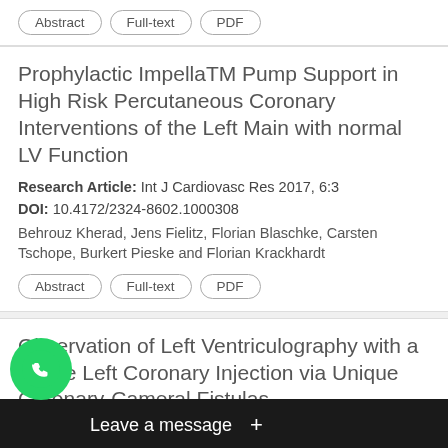Abstract | Full-text | PDF
Prophylactic ImpellaTM Pump Support in High Risk Percutaneous Coronary Interventions of the Left Main with normal LV Function
Research Article: Int J Cardiovasc Res 2017, 6:3
DOI: 10.4172/2324-8602.1000308
Behrouz Kherad, Jens Fielitz, Florian Blaschke, Carsten Tschope, Burkert Pieske and Florian Krackhardt
Abstract | Full-text | PDF
Observation of Left Ventriculography with a Single Left Coronary Injection via Unique Coronary-Cameral Fistulas
Case Report: Int J Cardiovasc Res 2013, 2:2
DOI: 10.4172/2324-8602.1000123
Uzunlar, Zeki Dogan and Ahmet Karabulut
[Figure (screenshot): WhatsApp 'Leave a message' chat overlay at the bottom of the screen with green WhatsApp icon and dark message bar]